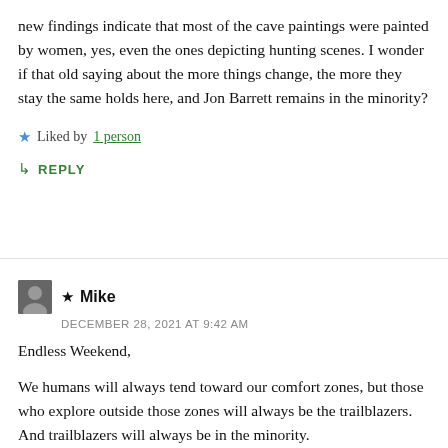new findings indicate that most of the cave paintings were painted by women, yes, even the ones depicting hunting scenes. I wonder if that old saying about the more things change, the more they stay the same holds here, and Jon Barrett remains in the minority?
★ Liked by 1 person
↳ REPLY
★ Mike
DECEMBER 28, 2021 AT 9:42 AM
Endless Weekend,

We humans will always tend toward our comfort zones, but those who explore outside those zones will always be the trailblazers. And trailblazers will always be in the minority.